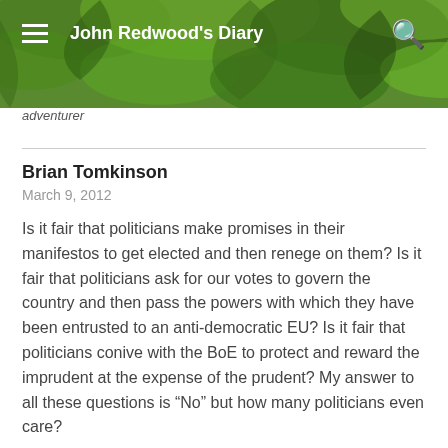John Redwood's Diary
adventurer
Brian Tomkinson
March 9, 2012
Is it fair that politicians make promises in their manifestos to get elected and then renege on them? Is it fair that politicians ask for our votes to govern the country and then pass the powers with which they have been entrusted to an anti-democratic EU? Is it fair that politicians conive with the BoE to protect and reward the imprudent at the expense of the prudent? My answer to all these questions is “No” but how many politicians even care?